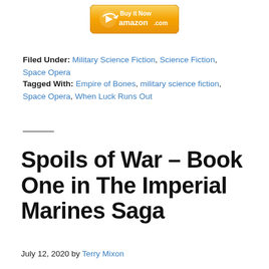[Figure (logo): Amazon Buy it Now button with orange gradient background, arrow icon, and amazon.com text]
Filed Under: Military Science Fiction, Science Fiction, Space Opera
Tagged With: Empire of Bones, military science fiction, Space Opera, When Luck Runs Out
Spoils of War – Book One in The Imperial Marines Saga
July 12, 2020 by Terry Mixon